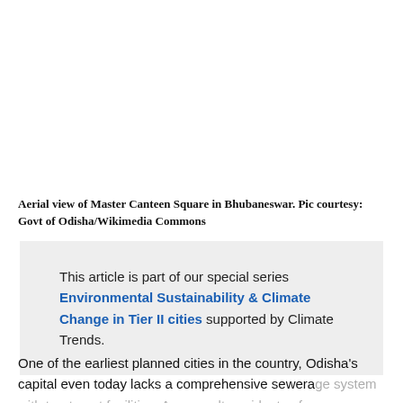Aerial view of Master Canteen Square in Bhubaneswar. Pic courtesy: Govt of Odisha/Wikimedia Commons
This article is part of our special series Environmental Sustainability & Climate Change in Tier II cities supported by Climate Trends.
One of the earliest planned cities in the country, Odisha's capital even today lacks a comprehensive sewerage system with treatment facilities. As a result, residents of